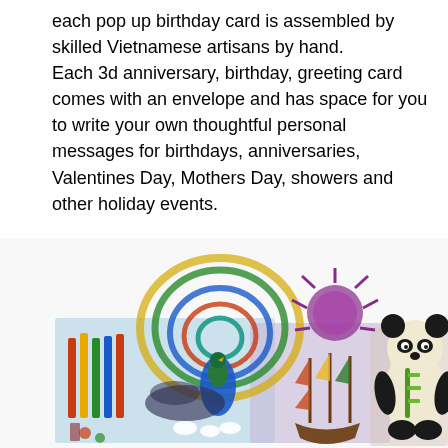each pop up birthday card is assembled by skilled Vietnamese artisans by hand. Each 3d anniversary, birthday, greeting card comes with an envelope and has space for you to write your own thoughtful personal messages for birthdays, anniversaries, Valentines Day, Mothers Day, showers and other holiday events.
[Figure (photo): A collection of 3D pop-up greeting cards displayed open, showing intricate paper-cut designs including a colorful peacock, a sailing ship scene with purple flowers, and a panda bear figure, all handcrafted.]